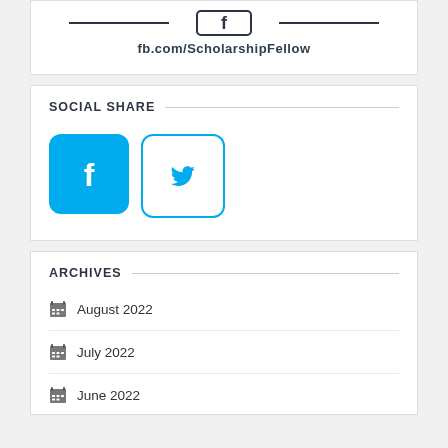[Figure (logo): Facebook page logo banner with fb.com/ScholarshipFellow URL]
SOCIAL SHARE
[Figure (logo): Facebook and Twitter social share icon buttons in blue rounded squares]
ARCHIVES
August 2022
July 2022
June 2022